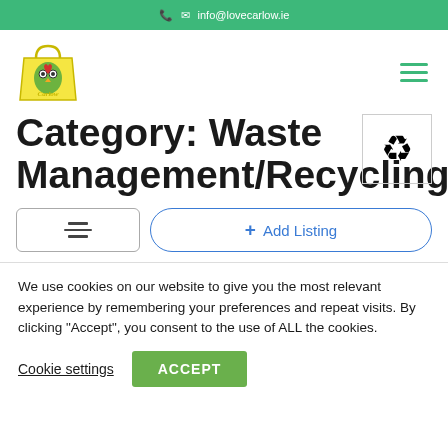info@lovecarlow.ie
[Figure (logo): Love Carlow logo with colorful cartoon owl holding a basket]
Category: Waste Management/Recycling
We use cookies on our website to give you the most relevant experience by remembering your preferences and repeat visits. By clicking "Accept", you consent to the use of ALL the cookies.
Cookie settings  ACCEPT